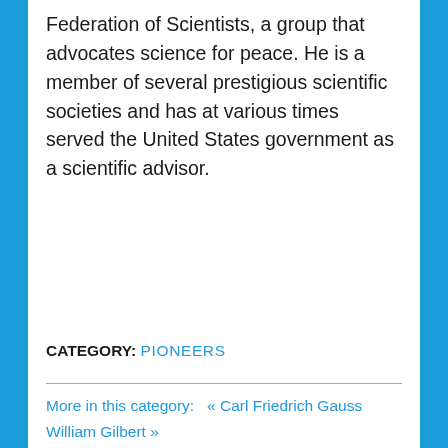Federation of Scientists, a group that advocates science for peace. He is a member of several prestigious scientific societies and has at various times served the United States government as a scientific advisor.
CATEGORY: PIONEERS
More in this category:  « Carl Friedrich Gauss     William Gilbert »
back to top
What's the MagLab?